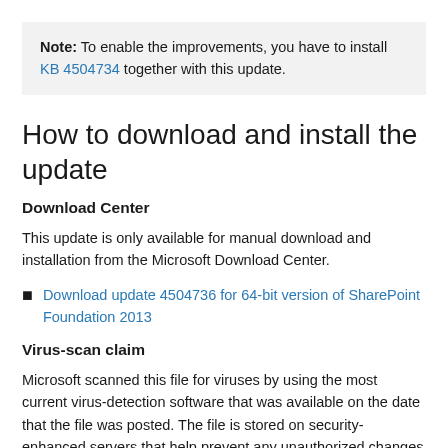Note: To enable the improvements, you have to install KB 4504734 together with this update.
How to download and install the update
Download Center
This update is only available for manual download and installation from the Microsoft Download Center.
Download update 4504736 for 64-bit version of SharePoint Foundation 2013
Virus-scan claim
Microsoft scanned this file for viruses by using the most current virus-detection software that was available on the date that the file was posted. The file is stored on security-enhanced servers that help prevent any unauthorized changes to it.